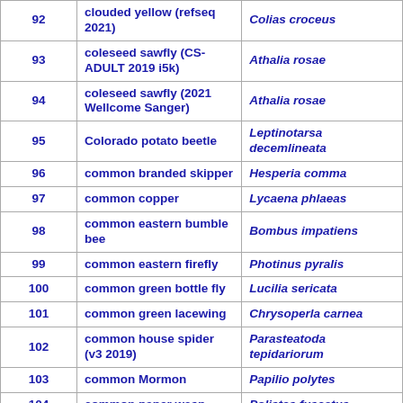|  | Common Name | Scientific Name |
| --- | --- | --- |
| 92 | clouded yellow (refseq 2021) | Colias croceus |
| 93 | coleseed sawfly (CS-ADULT 2019 i5k) | Athalia rosae |
| 94 | coleseed sawfly (2021 Wellcome Sanger) | Athalia rosae |
| 95 | Colorado potato beetle | Leptinotarsa decemlineata |
| 96 | common branded skipper | Hesperia comma |
| 97 | common copper | Lycaena phlaeas |
| 98 | common eastern bumble bee | Bombus impatiens |
| 99 | common eastern firefly | Photinus pyralis |
| 100 | common green bottle fly | Lucilia sericata |
| 101 | common green lacewing | Chrysoperla carnea |
| 102 | common house spider (v3 2019) | Parasteatoda tepidariorum |
| 103 | common Mormon | Papilio polytes |
| 104 | common paper wasp | Polistes fuscatus |
| 105 | common water flea (KAP4 2021) | Daphnia pulex |
| 106 | common yellow swallowtail (Sanger 2021) | Papilio machaon |